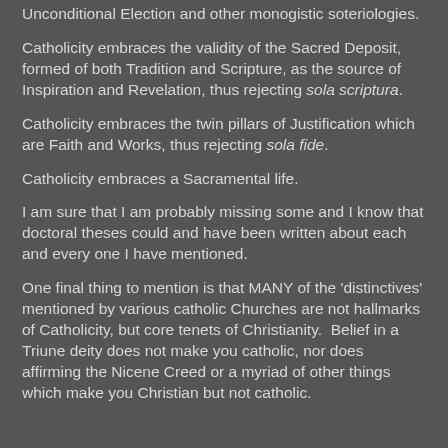Unconditional Election and other monogistic soteriologies.
Catholicity embraces the validity of the Sacred Deposit, formed of both Tradition and Scripture, as the source of Inspiration and Revelation, thus rejecting sola scriptura.
Catholicity embraces the twin pillars of Justification which are Faith and Works, thus rejecting sola fide.
Catholicity embraces a Sacramental life.
I am sure that I am probably missing some and I know that doctoral theses could and have been written about each and every one I have mentioned.
One final thing to mention is that MANY of the 'distinctives' mentioned by various catholic Churches are not hallmarks of Catholicity, but core tenets of Christianity.  Belief in a Triune deity does not make you catholic, nor does affirming the Nicene Creed or a myriad of other things which make you Christian but not catholic.